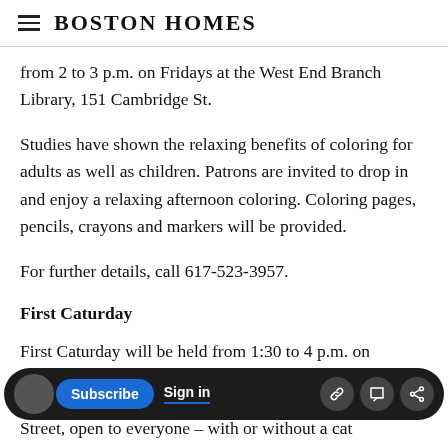Boston Homes
from 2 to 3 p.m. on Fridays at the West End Branch Library, 151 Cambridge St.
Studies have shown the relaxing benefits of coloring for adults as well as children. Patrons are invited to drop in and enjoy a relaxing afternoon coloring. Coloring pages, pencils, crayons and markers will be provided.
For further details, call 617-523-3957.
First Caturday
First Caturday will be held from 1:30 to 4 p.m. on
Street, open to everyone - with or without a cat